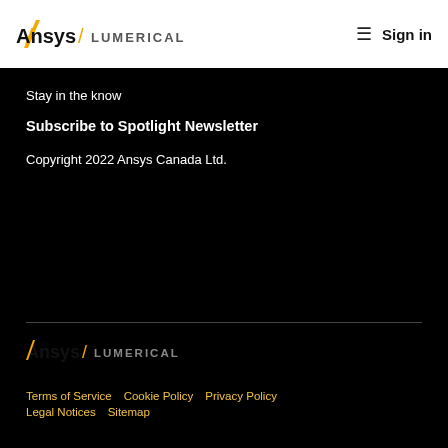[Figure (logo): Ansys Lumerical logo in header — gold A, white Ansys, slash, grey LUMERICAL]
Sign in
Stay in the know
Subscribe to Spotlight Newsletter
Copyright 2022 Ansys Canada Ltd.
[Figure (logo): Ansys Lumerical logo in footer — gold A, white Ansys, slash, grey LUMERICAL]
Terms of Service   Cookie Policy   Privacy Policy   Legal Notices   Sitemap